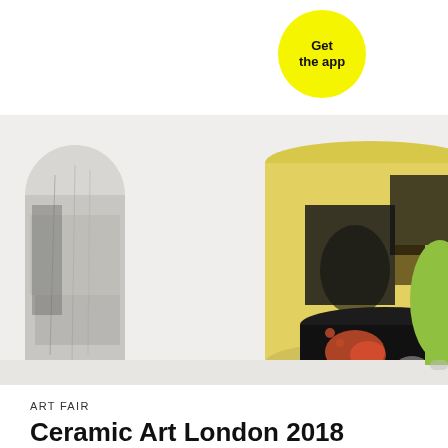[Figure (logo): Yellow circular badge with text 'Get the app' in bold black font]
[Figure (photo): Ceramic cylindrical vessels with abstract painted designs in yellow, black, grey and orange/red tones arranged on a white surface]
ART FAIR
Ceramic Art London 2018